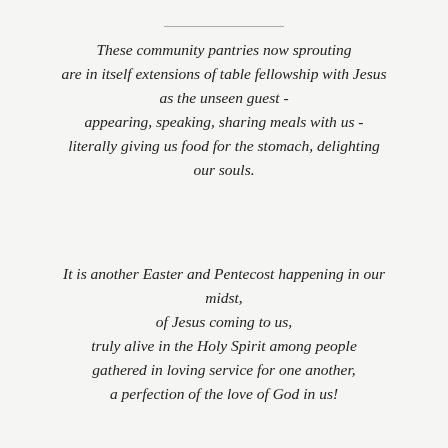These community pantries now sprouting are in itself extensions of table fellowship with Jesus as the unseen guest - appearing, speaking, sharing meals with us - literally giving us food for the stomach, delighting our souls.
It is another Easter and Pentecost happening in our midst, of Jesus coming to us, truly alive in the Holy Spirit among people gathered in loving service for one another, a perfection of the love of God in us!